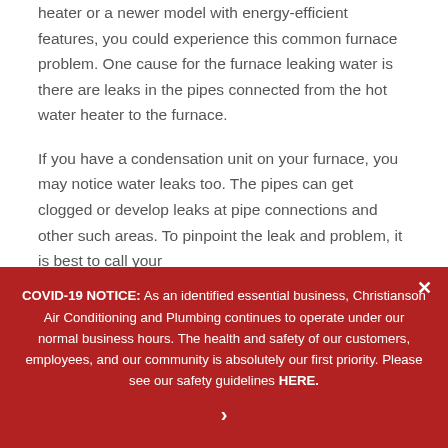heater or a newer model with energy-efficient features, you could experience this common furnace problem. One cause for the furnace leaking water is there are leaks in the pipes connected from the hot water heater to the furnace.
If you have a condensation unit on your furnace, you may notice water leaks too. The pipes can get clogged or develop leaks at pipe connections and other such areas. To pinpoint the leak and problem, it is best to call your
COVID-19 NOTICE: As an identified essential business, Christianson Air Conditioning and Plumbing continues to operate under our normal business hours. The health and safety of our customers, employees, and our community is absolutely our first priority. Please see our safety guidelines HERE.